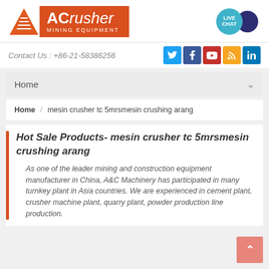[Figure (logo): ACrusher Mining Equipment logo with orange triangle icon and orange text box]
[Figure (other): Live Chat bubble in teal and dark navy blue circles]
Contact Us : +86-21-58386256
[Figure (other): Social media icons: Twitter, Facebook, YouTube, RSS, LinkedIn]
Home
Home / mesin crusher tc 5mrsmesin crushing arang
Hot Sale Products- mesin crusher tc 5mrsmesin crushing arang
As one of the leader mining and construction equipment manufacturer in China, A&C Machinery has participated in many turnkey plant in Asia countries. We are experienced in cement plant, crusher machine plant, quarry plant, powder production line production.